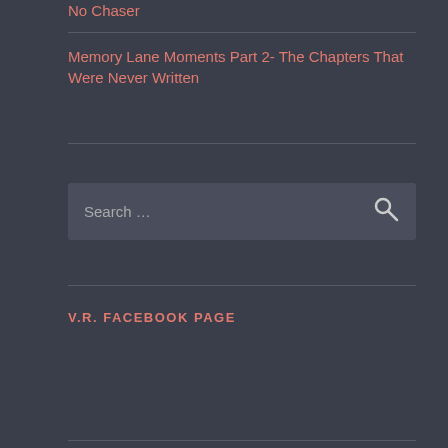No Chaser
Memory Lane Moments Part 2- The Chapters That Were Never Written
V.R. FACEBOOK PAGE